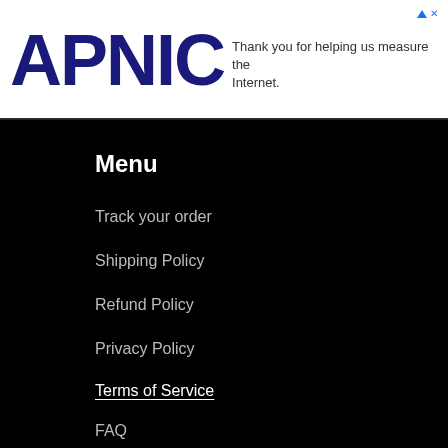APNIC   Thank you for helping us measure the Internet.
Menu
Track your order
Shipping Policy
Refund Policy
Privacy Policy
Terms of Service
FAQ
Our story